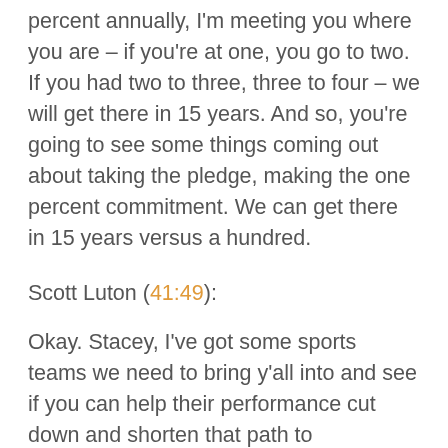percent annually, I'm meeting you where you are – if you're at one, you go to two. If you had two to three, three to four – we will get there in 15 years. And so, you're going to see some things coming out about taking the pledge, making the one percent commitment. We can get there in 15 years versus a hundred.
Scott Luton (41:49):
Okay. Stacey, I've got some sports teams we need to bring y'all into and see if you can help their performance cut down and shorten that path to